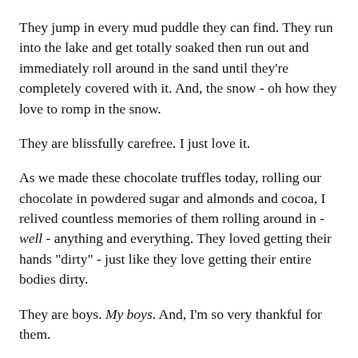They jump in every mud puddle they can find. They run into the lake and get totally soaked then run out and immediately roll around in the sand until they're completely covered with it. And, the snow - oh how they love to romp in the snow.
They are blissfully carefree. I just love it.
As we made these chocolate truffles today, rolling our chocolate in powdered sugar and almonds and cocoa, I relived countless memories of them rolling around in - well - anything and everything. They loved getting their hands "dirty" - just like they love getting their entire bodies dirty.
They are boys. My boys. And, I'm so very thankful for them.
This recipe is very easy and such a great one to make with kids. You're limited only by your creativity in terms of what to roll the chocolate in - sprinkles, sugars, nuts - anything you'd like.
Gift idea: Place various truffles in small boxes and tie with a